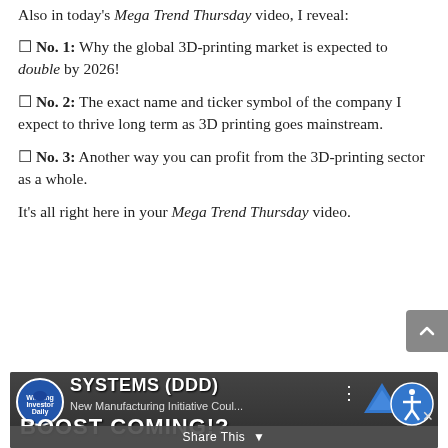Also in today's Mega Trend Thursday video, I reveal:
☐ No. 1: Why the global 3D-printing market is expected to double by 2026!
☐ No. 2: The exact name and ticker symbol of the company I expect to thrive long term as 3D printing goes mainstream.
☐ No. 3: Another way you can profit from the 3D-printing sector as a whole.
It's all right here in your Mega Trend Thursday video.
[Figure (screenshot): Video thumbnail showing 'SYSTEMS (DDD) BOOST COMING!?' with logo, share bar, and accessibility button overlay]